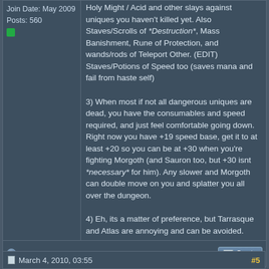Join Date: May 2009
Posts: 560
Holy Might / Acid and other slays against uniques you haven't killed yet. Also Staves/Scrolls of *Destruction*, Mass Banishment, Rune of Protection, and wands/rods of Teleport Other. (EDIT) Staves/Potions of Speed too (saves mana and fail from haste self)

3) When most if not all dangerous uniques are dead, you have the consumables and speed required, and just feel comfortable going down. Right now you have +19 speed base, get it to at least +20 so you can be at +30 when you're fighting Morgoth (and Sauron too, but +30 isnt *necessary* for him). Any slower and Morgoth can double move on you and splatter you all over the dungeon.

4) Eh, its a matter of preference, but Tarrasque and Atlas are annoying and can be avoided.
March 4, 2010, 03:55
#5